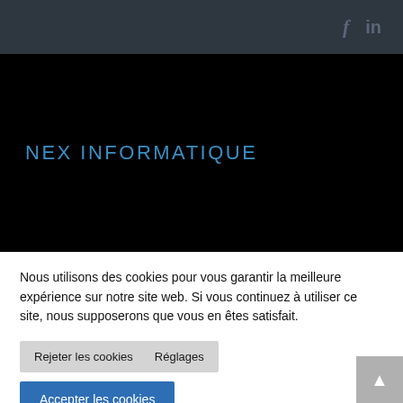f  in
NEX INFORMATIQUE
Nous utilisons des cookies pour vous garantir la meilleure expérience sur notre site web. Si vous continuez à utiliser ce site, nous supposerons que vous en êtes satisfait.
Rejeter les cookies   Réglages
Accepter les cookies